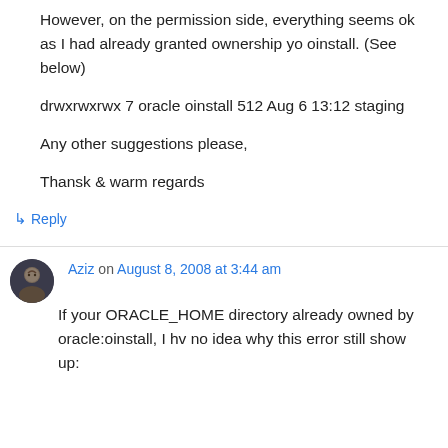However, on the permission side, everything seems ok as I had already granted ownership yo oinstall. (See below)
drwxrwxrwx 7 oracle oinstall 512 Aug 6 13:12 staging
Any other suggestions please,
Thansk & warm regards
↳ Reply
Aziz on August 8, 2008 at 3:44 am
If your ORACLE_HOME directory already owned by oracle:oinstall, I hv no idea why this error still show up: